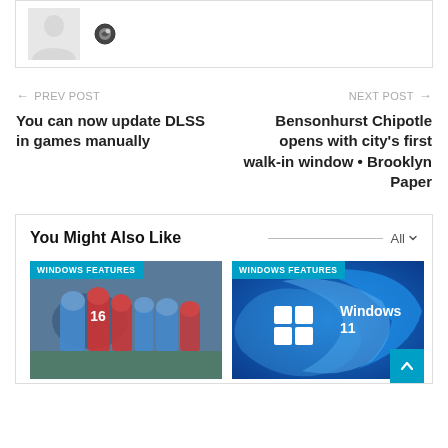[Figure (illustration): Gray avatar silhouette (person placeholder) with a small globe/location icon to the right]
← PREV POST
You can now update DLSS in games manually
NEXT POST →
Bensonhurst Chipotle opens with city's first walk-in window • Brooklyn Paper
You Might Also Like
[Figure (photo): Football game photo with players in blue and red uniforms, labeled WINDOWS FEATURES]
[Figure (screenshot): Windows 11 logo on blue swirl background, labeled WINDOWS FEATURES]